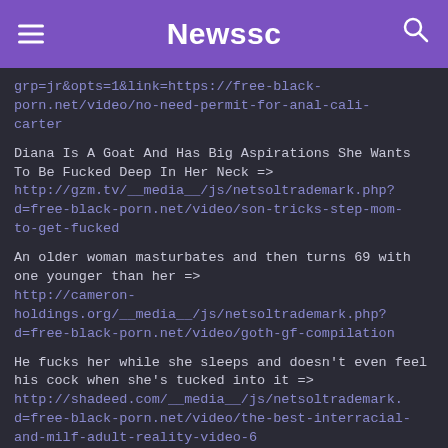Newssc
grp=jr&opts=1&link=https://free-black-porn.net/video/no-need-permit-for-anal-cali-carter
Diana Is A Goat And Has Big Aspirations She Wants To Be Fucked Deep In Her Neck => http://gzm.tv/__media__/js/netsoltrademark.php?d=free-black-porn.net/video/son-tricks-step-mom-to-get-fucked
An older woman masturbates and then turns 69 with one younger than her => http://cameron-holdings.org/__media__/js/netsoltrademark.php?d=free-black-porn.net/video/goth-gf-compilation
He fucks her while she sleeps and doesn't even feel his cock when she's tucked into it => http://shadeed.com/__media__/js/netsoltrademark.php?d=free-black-porn.net/video/the-best-interracial-and-milf-adult-reality-video-6